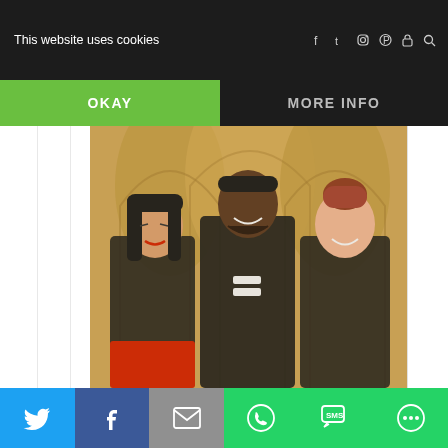This website uses cookies | f t Instagram Pinterest lock search | OKAY | MORE INFO
[Figure (photo): Three people posing together in front of ornate golden arched artwork/painting background. A woman with long black hair and red lips on the left wearing black, a tall man in the center wearing an all-black outfit with white accents, and a woman with red hair on the right wearing black. They are all smiling.]
Twitter | Facebook | Email | WhatsApp | SMS | More